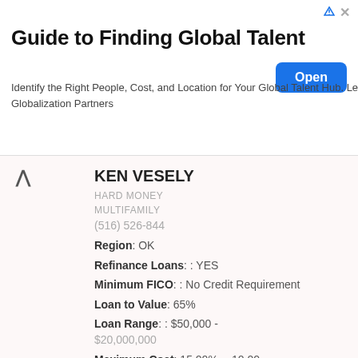[Figure (other): Advertisement banner: Guide to Finding Global Talent - Identify the Right People, Cost, and Location for Your Global Talent Hub. Learn More. Globalization Partners. Blue Open button on right.]
KEN VESELY
HARD MONEY
MULTIFAMILY
(516) 526-844
Region: OK
Refinance Loans: : YES
Minimum FICO: : No Credit Requirement
Loan to Value:  65%
Loan Range: : $50,000 - $20,000,000
Maximum Cost:  15.00% -- 10.00 Points
Minimum Cost: : 12.00% -- 4.00